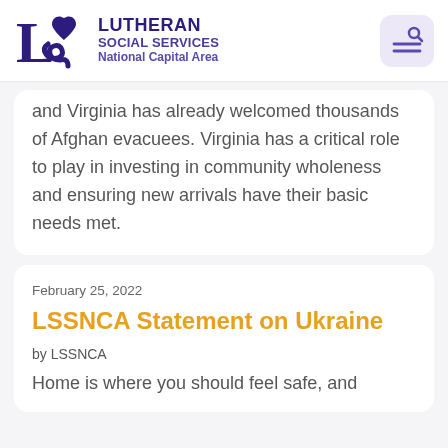[Figure (logo): Lutheran Social Services National Capital Area logo with LSS monogram and text]
and Virginia has already welcomed thousands of Afghan evacuees. Virginia has a critical role to play in investing in community wholeness and ensuring new arrivals have their basic needs met.
February 25, 2022
LSSNCA Statement on Ukraine
by LSSNCA
Home is where you should feel safe, and